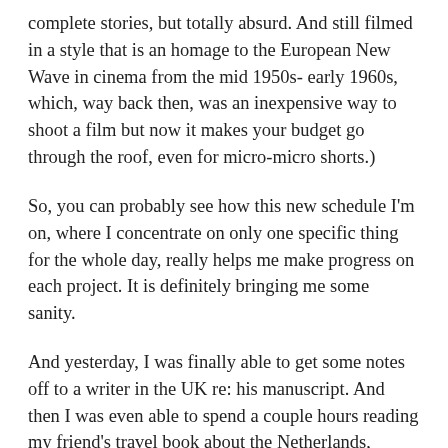complete stories, but totally absurd. And still filmed in a style that is an homage to the European New Wave in cinema from the mid 1950s- early 1960s, which, way back then, was an inexpensive way to shoot a film but now it makes your budget go through the roof, even for micro-micro shorts.)
So, you can probably see how this new schedule I'm on, where I concentrate on only one specific thing for the whole day, really helps me make progress on each project. It is definitely bringing me some sanity.
And yesterday, I was finally able to get some notes off to a writer in the UK re: his manuscript. And then I was even able to spend a couple hours reading my friend's travel book about the Netherlands, which I have been trying to finish for a few months already. (Whatever Comes My Way: Travels in the Netherlands by Roger Gaess) I really enjoy reading the book so I didn't want to just plow through it. I've never been to the Netherlands so I actually really want to take in what he has to